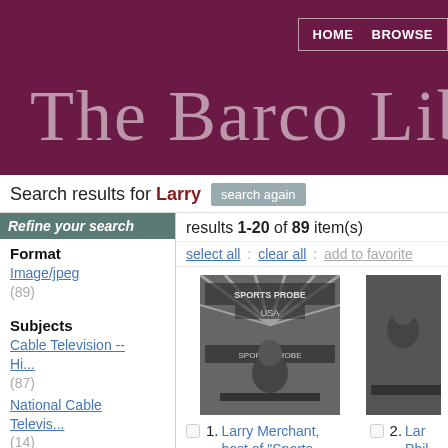The Barco Lib... HOME BROWSE
Search results for Larry
results 1-20 of 89 item(s)
select all : clear all : add to favorite
Refine your search
Format
Image/jpeg (89)
Subjects
Cable Television -- Hi... (87)
National Cable Televis... (14)
Cable Television Pione... (11)
National Cable
[Figure (photo): Black and white photo of Larry Merchant, host of Sports Probe on USA Network, seated at desk with Sports Probe USA banner behind him]
1. Larry Merchant, host of "Sports Probe" on USA Network
[Figure (photo): Partial black and white photo, item 2]
2. Lar... Phil D... CNN